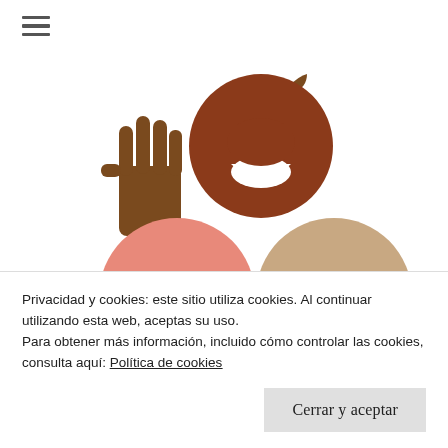≡
[Figure (illustration): Three stylized person/face icons in brown, salmon-pink, and tan/beige colors, with a brown stop-hand icon on the left. The top-center figure is dark brown with a small brown leaf/bird shape at top-right. Bottom-left figure is salmon/pink. Bottom-right figure is tan/beige. All figures have a half-circle mouth shape.]
Privacidad y cookies: este sitio utiliza cookies. Al continuar utilizando esta web, aceptas su uso.
Para obtener más información, incluido cómo controlar las cookies, consulta aquí: Política de cookies
Cerrar y aceptar